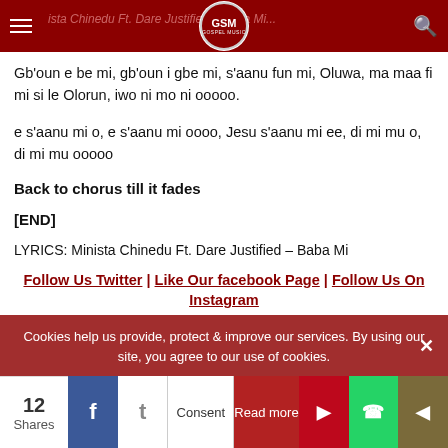Gospel Music website header with logo GSM
Gb'oun e be mi, gb'oun i gbe mi, s'aanu fun mi, Oluwa, ma maa fi mi si le Olorun, iwo ni mo ni ooooo.
e s'aanu mi o, e s'aanu mi oooo, Jesu s'aanu mi ee, di mi mu o, di mi mu ooooo
Back to chorus till it fades
[END]
LYRICS: Minista Chinedu Ft. Dare Justified – Baba Mi
Follow Us Twitter | Like Our facebook Page | Follow Us On Instagram
Cookies help us provide, protect & improve our services. By using our site, you agree to our use of cookies.
12 Shares | Consent | Read more | share buttons